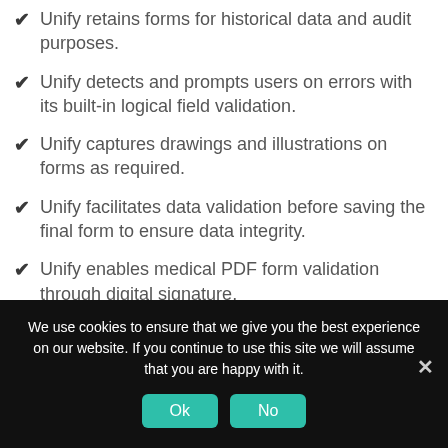Unify retains forms for historical data and audit purposes.
Unify detects and prompts users on errors with its built-in logical field validation.
Unify captures drawings and illustrations on forms as required.
Unify facilitates data validation before saving the final form to ensure data integrity.
Unify enables medical PDF form validation through digital signature.
Unify forms are secure and can be easily analysed and reported on.
We use cookies to ensure that we give you the best experience on our website. If you continue to use this site we will assume that you are happy with it.